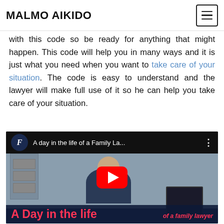MALMO AIKIDO
with this code so be ready for anything that might happen. This code will help you in many ways and it is just what you need when you want to take care of your situation. The code is easy to understand and the lawyer will make full use of it so he can help you take care of your situation.
[Figure (screenshot): YouTube video embed thumbnail showing 'A day in the life of a Family La...' with a man sitting at a desk, a red YouTube play button in the center, and overlaid text reading 'A Day in the life of a family lawyer']